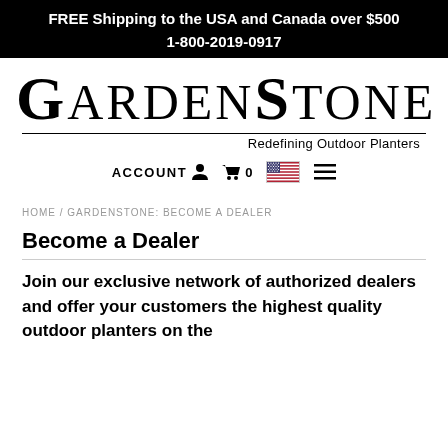FREE Shipping to the USA and Canada over $500
1-800-2019-0917
[Figure (logo): GardenStone logo with decorative serif font and horizontal rules, tagline: Redefining Outdoor Planters]
ACCOUNT  🧑   🛒0  🇺🇸  ≡
HOME / GARDENSTONE: BECOME A DEALER
Become a Dealer
Join our exclusive network of authorized dealers and offer your customers the highest quality outdoor planters on the